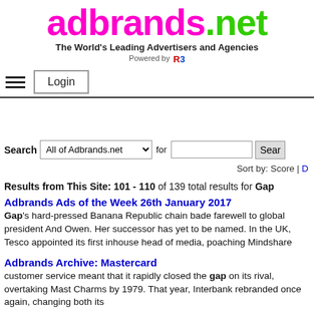adbrands.net - The World's Leading Advertisers and Agencies - Powered by R3
Login
Search All of Adbrands.net for [search input] Sear
Sort by: Score | D
Results from This Site: 101 - 110 of 139 total results for Gap
Adbrands Ads of the Week 26th January 2017
Gap's hard-pressed Banana Republic chain bade farewell to global president Andi Owen. Her successor has yet to be named. In the UK, Tesco appointed its first inhouse head of media, poaching Mindshare
Adbrands Archive: Mastercard
customer service meant that it rapidly closed the gap on its rival, overtaking Mast Charms by 1979. That year, Interbank rebranded once again, changing both its